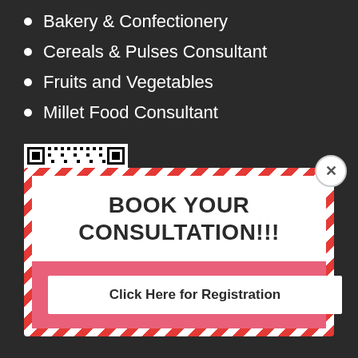Bakery & Confectionery
Cereals & Pulses Consultant
Fruits and Vegetables
Millet Food Consultant
[Figure (other): QR code image for registration]
BOOK YOUR CONSULTATION!!!
Click Here for Registration